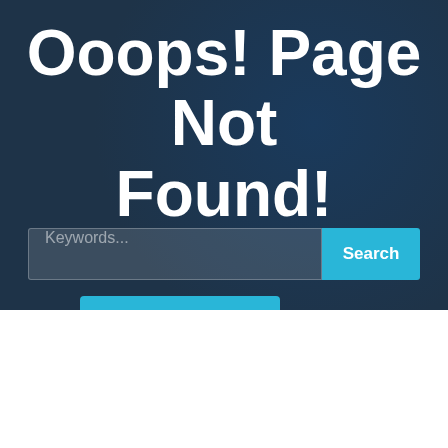Ooops! Page Not Found!
Keywords...
Search
We use cookies on our website to give you the most relevant experience by remembering your preferences and repeat visits. By clicking “Accept”, you consent to the use of ALL the cookies. However, you may visit "Cookie Settings" to provide a controlled consent.
Accept
Cookie Settings
Privacy Policy